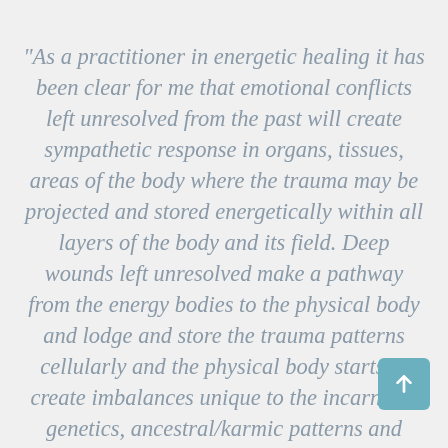“As a practitioner in energetic healing it has been clear for me that emotional conflicts left unresolved from the past will create sympathetic response in organs, tissues, areas of the body where the trauma may be projected and stored energetically within all layers of the body and its field. Deep wounds left unresolved make a pathway from the energy bodies to the physical body and lodge and store the trauma patterns cellularly and the physical body starts to create imbalances unique to the incarnates genetics, ancestral/karmic patterns and other factors. I have witnessed energetic practitioners visit the cloven to multi-dimensional…